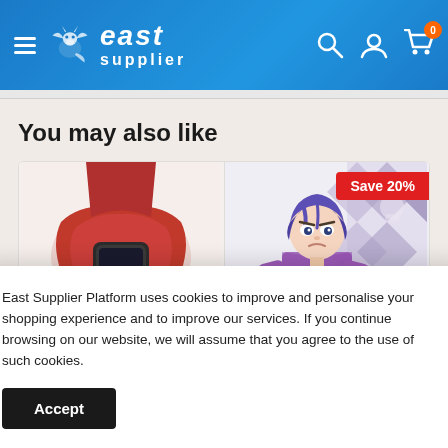[Figure (screenshot): East Supplier website header with blue gradient background, hamburger menu, dragon logo, 'east supplier' brand name, search icon, user icon, and cart icon with orange badge showing 0]
You may also like
[Figure (photo): Two product cards: left shows a red silicone Apple Watch band, right shows an anime figure (blue-haired character) with 'Save 20%' red badge]
East Supplier Platform uses cookies to improve and personalise your shopping experience and to improve our services. If you continue browsing on our website, we will assume that you agree to the use of such cookies.
Accept